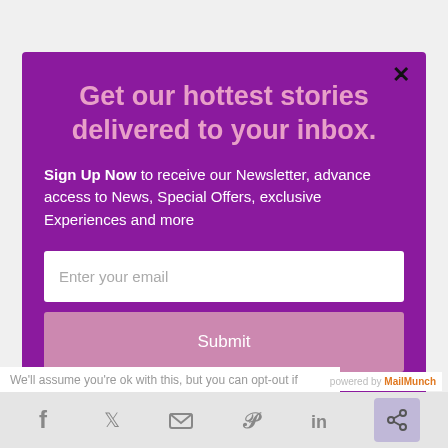Get our hottest stories delivered to your inbox.
Sign Up Now to receive our Newsletter, advance access to News, Special Offers, exclusive Experiences and more
Enter your email
Submit
We'll assume you're ok with this, but you can opt-out if
powered by MailMunch
[Figure (infographic): Social media sharing bar with Facebook, Twitter, email, Pinterest, LinkedIn icons and a share button on purple background]